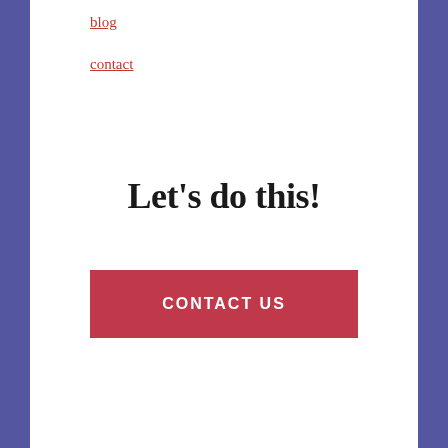blog
contact
Let's do this!
CONTACT US